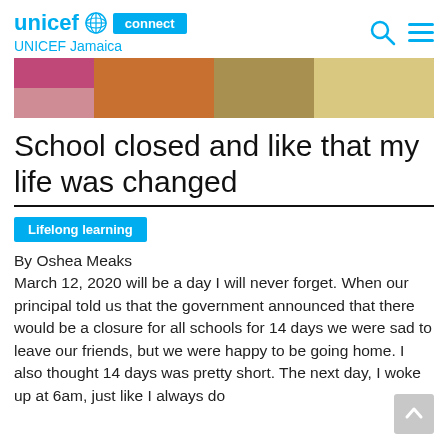unicef connect UNICEF Jamaica
[Figure (photo): Partial photo strip showing children studying, cropped at top of article area]
School closed and like that my life was changed
Lifelong learning
By Oshea Meaks
March 12, 2020 will be a day I will never forget. When our principal told us that the government announced that there would be a closure for all schools for 14 days we were sad to leave our friends, but we were happy to be going home. I also thought 14 days was pretty short. The next day, I woke up at 6am, just like I always do